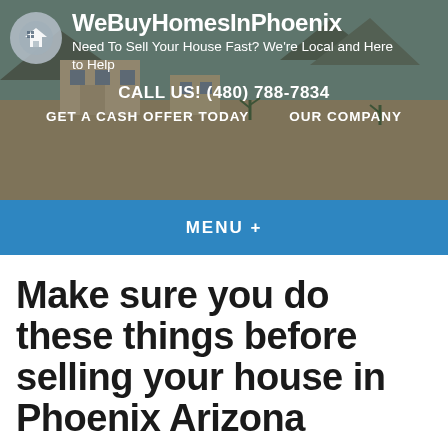[Figure (screenshot): Website header banner with background photo of desert/Arizona home landscape, logo circle with house icon, brand name WeBuyHomesInPhoenix, tagline, phone number, and navigation links]
WeBuyHomesInPhoenix
Need To Sell Your House Fast? We're Local and Here to Help
CALL US! (480) 788-7834
GET A CASH OFFER TODAY   OUR COMPANY
MENU +
Make sure you do these things before selling your house in Phoenix Arizona
August 16, 2016